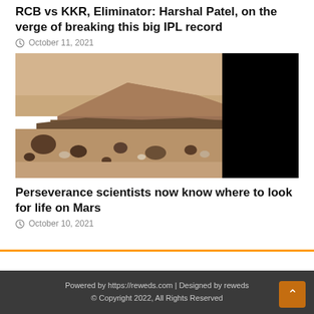RCB vs KKR, Eliminator: Harshal Patel, on the verge of breaking this big IPL record
October 11, 2021
[Figure (photo): Mars landscape photograph showing rocky terrain with a mesa or hill in the background, rocks scattered on reddish-brown ground, with a black section on the right side of the image taken by the Perseverance rover.]
Perseverance scientists now know where to look for life on Mars
October 10, 2021
Powered by https://reweds.com | Designed by reweds © Copyright 2022, All Rights Reserved